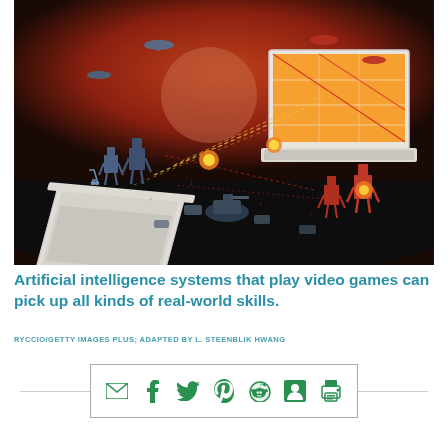[Figure (illustration): Isometric illustration showing two laptops facing each other with robotic AI figures, military vehicles (tanks, cars), airplanes, and explosions on a dark background with a red sky and orange sun — depicting AI systems playing a video game battle scenario.]
Artificial intelligence systems that play video games can pick up all kinds of real-world skills.
RYCCIO/GETTY IMAGES PLUS; ADAPTED BY L. STEENBLIK HWANG
[Figure (infographic): Social share bar with icons for email, Facebook, Twitter, Pinterest, Reddit, Google+, and print, contained in a bordered rectangle with horizontal lines extending to the edges.]